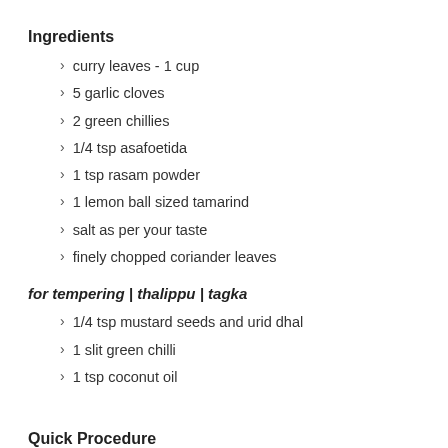Ingredients
curry leaves - 1 cup
5 garlic cloves
2 green chillies
1/4 tsp asafoetida
1 tsp rasam powder
1 lemon ball sized tamarind
salt as per your taste
finely chopped coriander leaves
for tempering | thalippu | tagka
1/4 tsp mustard seeds and urid dhal
1 slit green chilli
1 tsp coconut oil
Quick Procedure